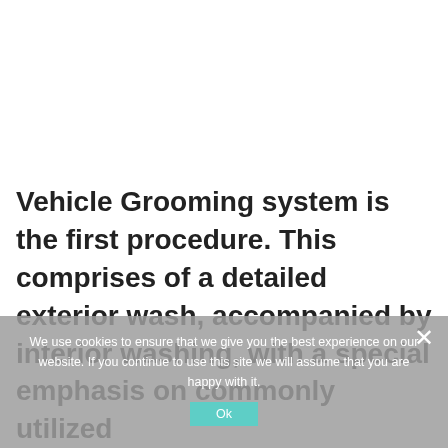Vehicle Grooming system is the first procedure. This comprises of a detailed exterior wash, accompanied by interior washing, with a special emphasis on commonly utilized touch-points (steering wheel, door handles, etc.). Toatalizing the
We use cookies to ensure that we give you the best experience on our website. If you continue to use this site we will assume that you are happy with it. Ok